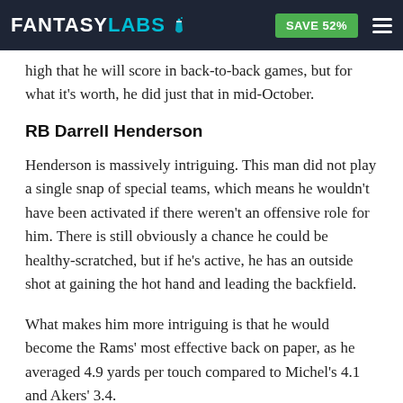FANTASY LABS | SAVE 52%
high that he will score in back-to-back games, but for what it's worth, he did just that in mid-October.
RB Darrell Henderson
Henderson is massively intriguing. This man did not play a single snap of special teams, which means he wouldn't have been activated if there weren't an offensive role for him. There is still obviously a chance he could be healthy-scratched, but if he's active, he has an outside shot at gaining the hot hand and leading the backfield.
What makes him more intriguing is that he would become the Rams' most effective back on paper, as he averaged 4.9 yards per touch compared to Michel's 4.1 and Akers' 3.4.